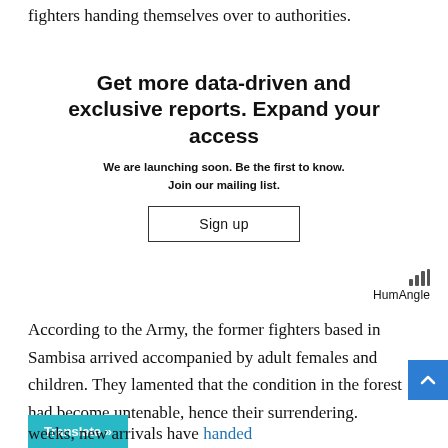fighters handing themselves over to authorities.
[Figure (infographic): Promotional box with teal decorative curved shapes on left and right sides, containing headline 'Get more data-driven and exclusive reports. Expand your access', subtext 'We are launching soon. Be the first to know. Join our mailing list.', a Sign up button, and HumAngle logo in bottom right corner.]
According to the Army, the former fighters based in Sambisa arrived accompanied by adult females and children. They lamented that the condition in the forest had become untenable, hence their surrendering.
weeks, new arrivals have handed